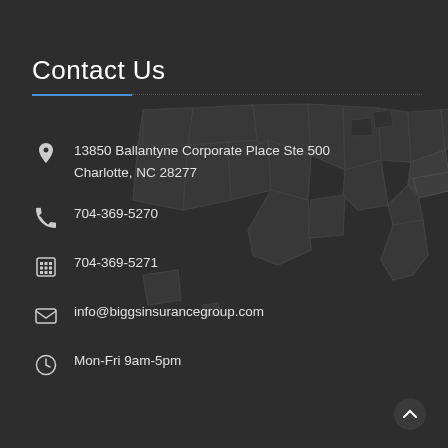Contact Us
13850 Ballantyne Corporate Place Ste 500
Charlotte, NC 28277
704-369-5270
704-369-5271
info@biggsinsurancegroup.com
Mon-Fri 9am-5pm